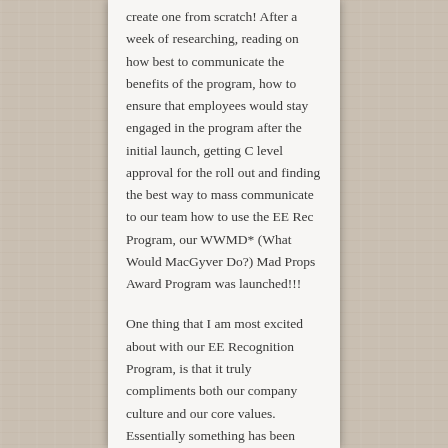create one from scratch! After a week of researching, reading on how best to communicate the benefits of the program, how to ensure that employees would stay engaged in the program after the initial launch, getting C level approval for the roll out and finding the best way to mass communicate to our team how to use the EE Rec Program, our WWMD* (What Would MacGyver Do?) Mad Props Award Program was launched!!!
One thing that I am most excited about with our EE Recognition Program, is that it truly compliments both our company culture and our core values. Essentially something has been created that embodies the spirit of our